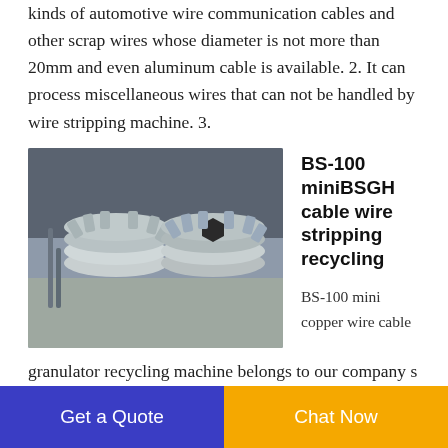kinds of automotive wire communication cables and other scrap wires whose diameter is not more than 20mm and even aluminum cable is available. 2. It can process miscellaneous wires that can not be handled by wire stripping machine. 3.
[Figure (photo): Two stacked metal gear-like components (copper wire granulator blades/cutters) photographed on a concrete floor in an industrial setting]
BS-100 miniBSGH cable wire stripping recycling
BS-100 mini copper wire cable granulator recycling machine belongs to our company s smallest dry type cable wire separator machine suitable for processing 1-20mm scrap cables with capacity 50kg
Get a Quote
Chat Now